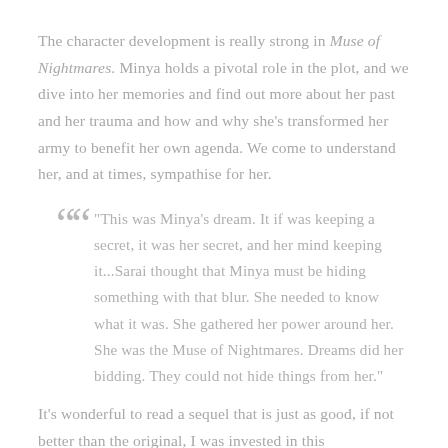The character development is really strong in Muse of Nightmares. Minya holds a pivotal role in the plot, and we dive into her memories and find out more about her past and her trauma and how and why she's transformed her army to benefit her own agenda. We come to understand her, and at times, sympathise for her.
“This was Minya’s dream. It if was keeping a secret, it was her secret, and her mind keeping it...Sarai thought that Minya must be hiding something with that blur. She needed to know what it was. She gathered her power around her. She was the Muse of Nightmares. Dreams did her bidding. They could not hide things from her.”
It’s wonderful to read a sequel that is just as good, if not better than the original, I was invested in this